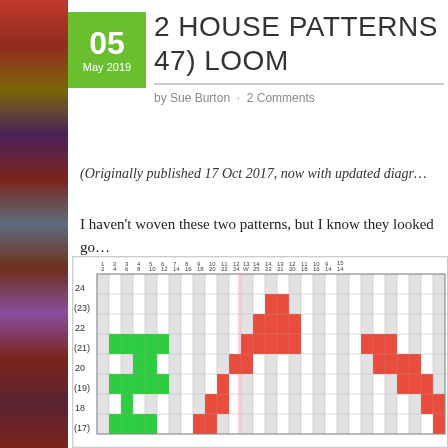2 HOUSE PATTERNS FOR THE (47) LOOM
by Sue Burton · 2 Comments
(Originally published 17 Oct 2017, now with updated diagrams)
I haven't woven these two patterns, but I know they looked good.
I offer them here for the 6″ loom.
[Figure (other): Weaving loom pattern grid diagram with numbered rows (17-24) and columns (2-24), colored cells in green, red, and gray indicating a house weaving pattern]